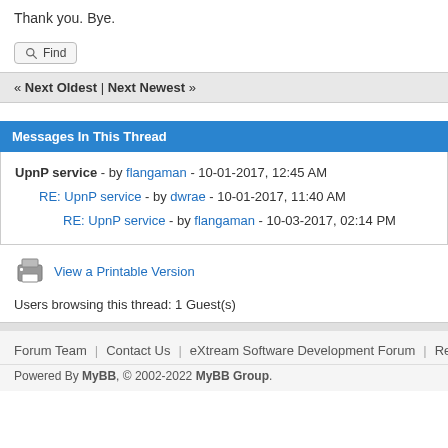Thank you. Bye.
Find
« Next Oldest | Next Newest »
Messages In This Thread
UpnP service - by flangaman - 10-01-2017, 12:45 AM
RE: UpnP service - by dwrae - 10-01-2017, 11:40 AM
RE: UpnP service - by flangaman - 10-03-2017, 02:14 PM
View a Printable Version
Users browsing this thread: 1 Guest(s)
Forum Team  Contact Us  eXtream Software Development Forum  Return to T
Powered By MyBB, © 2002-2022 MyBB Group.